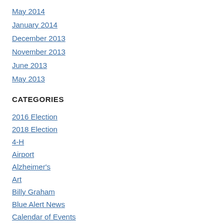May 2014
January 2014
December 2013
November 2013
June 2013
May 2013
CATEGORIES
2016 Election
2018 Election
4-H
Airport
Alzheimer's
Art
Billy Graham
Blue Alert News
Calendar of Events